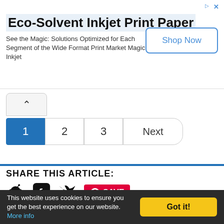[Figure (infographic): Advertisement banner for Eco-Solvent Inkjet Print Paper with a Shop Now button, close and ad tag icons]
Eco-Solvent Inkjet Print Paper
See the Magic: Solutions Optimized for Each Segment of the Wide Format Print Market Magic Inkjet
[Figure (infographic): Pagination control showing chevron up, page buttons 1 (active), 2, 3, and Next]
SHARE THIS ARTICLE:
[Figure (infographic): Social share icons: Reddit, Facebook, Twitter, and Pinterest Save button]